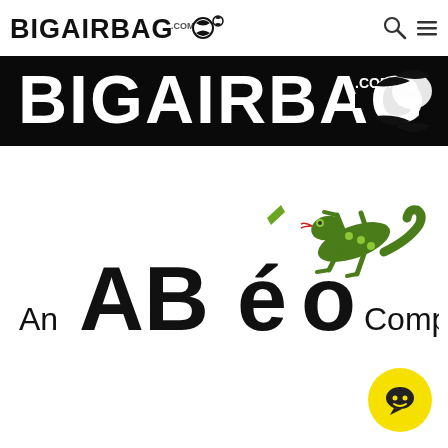BIGAIRBAG.COM [logo with search and menu icons]
[Figure (logo): Large BIGAIRBAG.COM logo banner in black and white, bold black lettering with decorative icon on dark background]
[Figure (logo): ABÉO company logo — large black text 'ABÉO' with green lizard/gecko graphic. Text reads 'An ABÉO Company']
[Figure (other): Yellow circular chat button with chat bubble icon in bottom right corner]